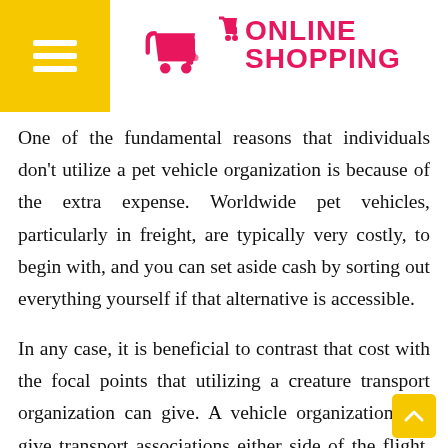[Figure (logo): Online Shopping logo with yellow hamburger menu bar on left, pink/magenta shopping cart icon and bold pink 'ONLINE SHOPPING' text on white header background]
One of the fundamental reasons that individuals don't utilize a pet vehicle organization is because of the extra expense. Worldwide pet vehicles, particularly in freight, are typically very costly, to begin with, and you can set aside cash by sorting out everything yourself if that alternative is accessible.
In any case, it is beneficial to contrast that cost with the focal points that utilizing a creature transport organization can give. A vehicle organization can give transport associations either side of the flight, recruit or sell you a suitable carton, or compose for your pet to see their vets. There's additionally the time spared by not arranging everything yourself, in addition to the pressure spared – not effectively quantifiable in dollars!